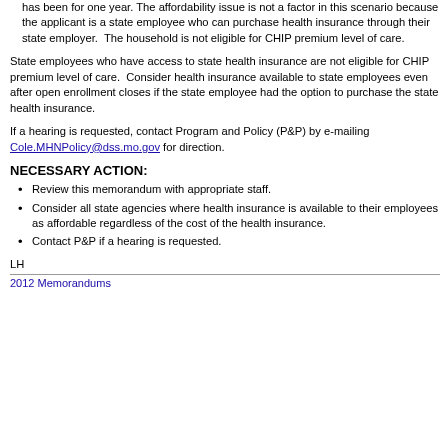has been for one year. The affordability issue is not a factor in this scenario because the applicant is a state employee who can purchase health insurance through their state employer.  The household is not eligible for CHIP premium level of care.
State employees who have access to state health insurance are not eligible for CHIP premium level of care.  Consider health insurance available to state employees even after open enrollment closes if the state employee had the option to purchase the state health insurance.
If a hearing is requested, contact Program and Policy (P&P) by e-mailing Cole.MHNPolicy@dss.mo.gov for direction.
NECESSARY ACTION:
Review this memorandum with appropriate staff.
Consider all state agencies where health insurance is available to their employees as affordable regardless of the cost of the health insurance.
Contact P&P if a hearing is requested.
LH
2012 Memorandums